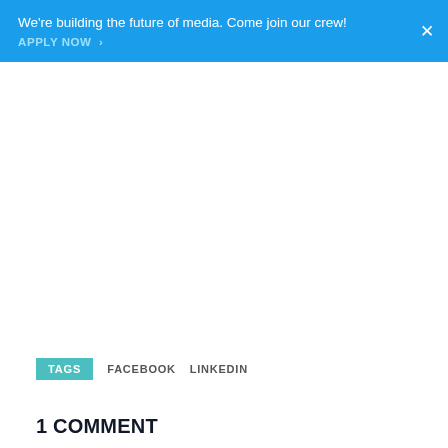We're building the future of media. Come join our crew! APPLY NOW >
TAGS  FACEBOOK  LINKEDIN
1 COMMENT